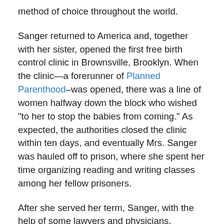method of choice throughout the world.
Sanger returned to America and, together with her sister, opened the first free birth control clinic in Brownsville, Brooklyn. When the clinic—a forerunner of Planned Parenthood–was opened, there was a line of women halfway down the block who wished "to her to stop the babies from coming." As expected, the authorities closed the clinic within ten days, and eventually Mrs. Sanger was hauled off to prison, where she spent her time organizing reading and writing classes among her fellow prisoners.
After she served her term, Sanger, with the help of some lawyers and physicians, managed to modify existing laws so that doctors could prescribe contraception to married women for a great variety of reasons. It would take decades before this resource would be available for teens